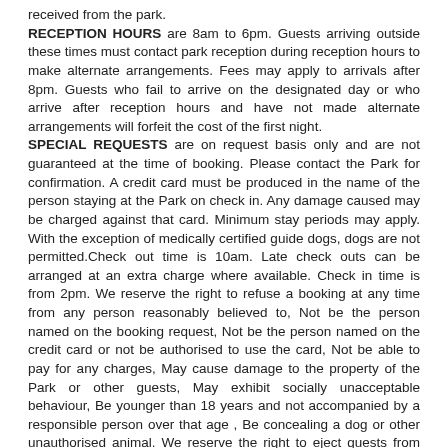received from the park. RECEPTION HOURS are 8am to 6pm. Guests arriving outside these times must contact park reception during reception hours to make alternate arrangements. Fees may apply to arrivals after 8pm. Guests who fail to arrive on the designated day or who arrive after reception hours and have not made alternate arrangements will forfeit the cost of the first night. SPECIAL REQUESTS are on request basis only and are not guaranteed at the time of booking. Please contact the Park for confirmation. A credit card must be produced in the name of the person staying at the Park on check in. Any damage caused may be charged against that card. Minimum stay periods may apply. With the exception of medically certified guide dogs, dogs are not permitted.Check out time is 10am. Late check outs can be arranged at an extra charge where available. Check in time is from 2pm. We reserve the right to refuse a booking at any time from any person reasonably believed to, Not be the person named on the booking request, Not be the person named on the credit card or not be authorised to use the card, Not be able to pay for any charges, May cause damage to the property of the Park or other guests, May exhibit socially unacceptable behaviour, Be younger than 18 years and not accompanied by a responsible person over that age , Be concealing a dog or other unauthorised animal. We reserve the right to eject guests from the